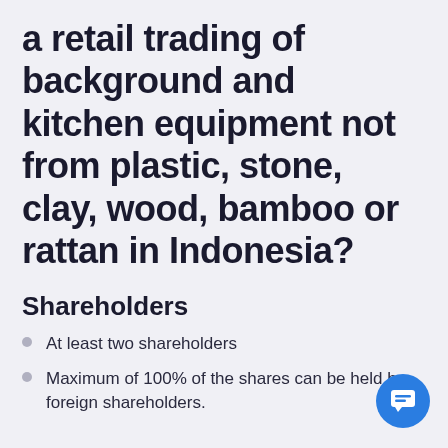a retail trading of background and kitchen equipment not from plastic, stone, clay, wood, bamboo or rattan in Indonesia?
Shareholders
At least two shareholders
Maximum of 100% of the shares can be held by foreign shareholders.